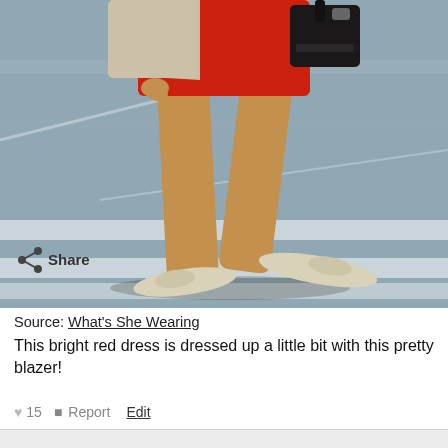[Figure (photo): A woman walking on a street crosswalk wearing a bright red short dress, a beige/cream blazer, carrying a black handbag, and wearing cream/beige flat shoes. Only the lower body from waist down is visible.]
Source: What's She Wearing
This bright red dress is dressed up a little bit with this pretty blazer!
♥ 15   ▪ Report   Edit